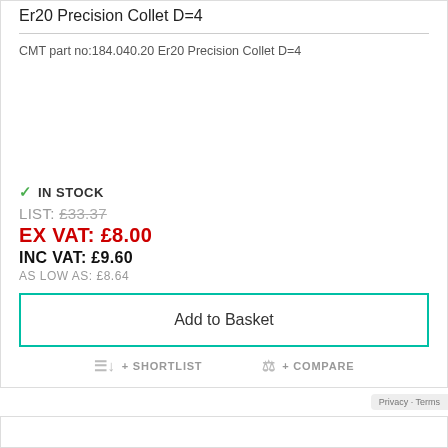Er20 Precision Collet D=4
CMT part no:184.040.20 Er20 Precision Collet D=4
✓ IN STOCK
LIST: £33.37
EX VAT: £8.00
INC VAT: £9.60
AS LOW AS: £8.64
Add to Basket
+ SHORTLIST
+ COMPARE